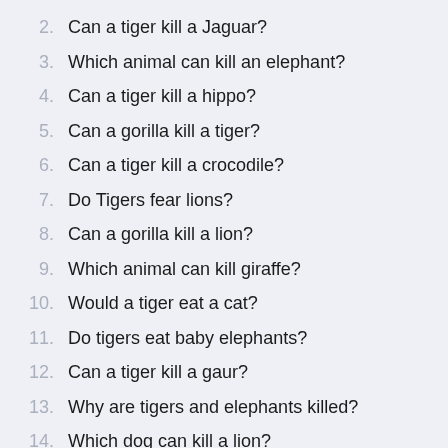2. Can a tiger kill a Jaguar?
3. Which animal can kill an elephant?
4. Can a tiger kill a hippo?
5. Can a gorilla kill a tiger?
6. Can a tiger kill a crocodile?
7. Do Tigers fear lions?
8. Can a gorilla kill a lion?
9. Which animal can kill giraffe?
10. Would a tiger eat a cat?
11. Do tigers eat baby elephants?
12. Can a tiger kill a gaur?
13. Why are tigers and elephants killed?
14. Which dog can kill a lion?
15. Why Tiger is not king of jungle?